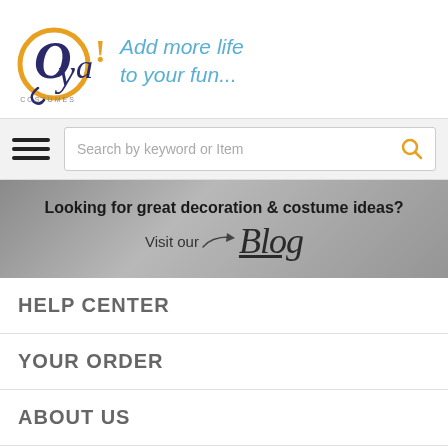[Figure (logo): Oya Costumes logo with orange circle, dark blue 'oya!' text, and tagline 'Add more life to your fun...' in blue italic text]
[Figure (screenshot): Navigation bar with hamburger menu icon and search box reading 'Search by keyword or Item' with orange search icon]
[Figure (infographic): Grey banner reading 'Looking for great decoration & costume ideas? Visit our Blog']
HELP CENTER
YOUR ORDER
ABOUT US
Proudly Canadian serving Halloween fans from coast to